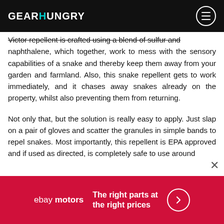GEARHUNGRY
Victor repellent is crafted using a blend of sulfur and naphthalene, which together, work to mess with the sensory capabilities of a snake and thereby keep them away from your garden and farmland. Also, this snake repellent gets to work immediately, and it chases away snakes already on the property, whilst also preventing them from returning.
Not only that, but the solution is really easy to apply. Just slap on a pair of gloves and scatter the granules in simple bands to repel snakes. Most importantly, this repellent is EPA approved and if used as directed, is completely safe to use around
[Figure (other): eBay Motors advertisement banner: red background with eBay motors logo and text 'The right parts at the right prices' with arrow circle button]